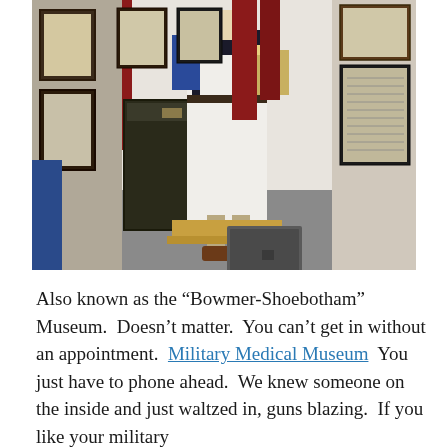[Figure (photo): Museum display showing a mannequin dressed in a historical military nurse uniform with a white apron and dark jacket with blue sleeve detail, brown shoes, holding a bag. Behind are framed photographs and documents on the walls, and a dark wooden trunk/box to the left. A metal case sits on a wooden platform at the mannequin's feet.]
Also known as the “Bowmer-Shoebotham” Museum.  Doesn’t matter.  You can’t get in without an appointment.  Military Medical Museum  You just have to phone ahead.  We knew someone on the inside and just waltzed in, guns blazing.  If you like your military